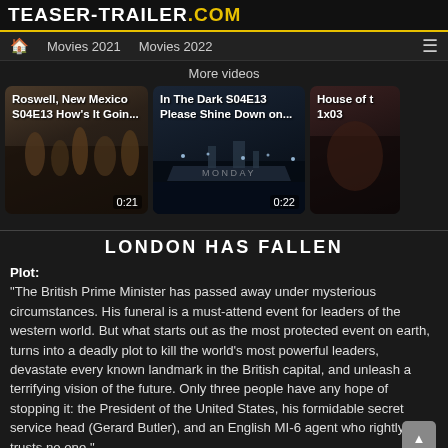TEASER-TRAILER.COM
Movies 2021   Movies 2022
More videos
[Figure (screenshot): Video thumbnail: Roswell, New Mexico S04E13 How's It Goin... duration 0:21]
[Figure (screenshot): Video thumbnail: In The Dark S04E13 Please Shine Down on... duration 0:22]
[Figure (screenshot): Video thumbnail: House of t 1x03, partially visible]
LONDON HAS FALLEN
Plot:
“The British Prime Minister has passed away under mysterious circumstances. His funeral is a must-attend event for leaders of the western world. But what starts out as the most protected event on earth, turns into a deadly plot to kill the world’s most powerful leaders, devastate every known landmark in the British capital, and unleash a terrifying vision of the future. Only three people have any hope of stopping it: the President of the United States, his formidable secret service head (Gerard Butler), and an English MI-6 agent who rightly trusts no one.”